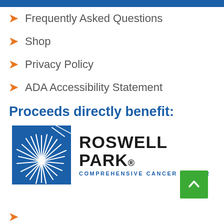Frequently Asked Questions
Shop
Privacy Policy
ADA Accessibility Statement
Proceeds directly benefit:
[Figure (logo): Roswell Park Comprehensive Cancer Center logo — blue square with white starburst/firework graphic on left, ROSWELL PARK. COMPREHENSIVE CANCER CENTER text on right]